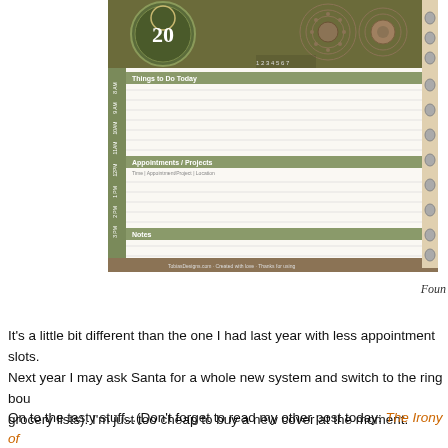[Figure (illustration): Partially visible planner/organizer page with decorative circular patterns in green and brown at the top, showing the number 20, with ruled lines for appointments and notes sections below. Ring binding visible on the right edge.]
Foun
It's a little bit different than the one I had last year with less appointment slots. Next year I may ask Santa for a whole new system and switch to the ring bou grocery lists). I'm just too cheap to buy a new cover at the moment.
On to the tasty stuff...(Don't forget to read my other post today: The Irony of